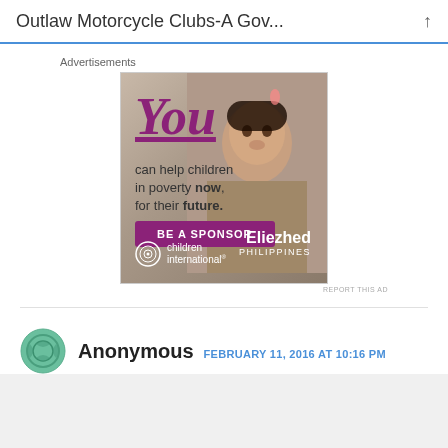Outlaw Motorcycle Clubs-A Gov...
Advertisements
[Figure (photo): Children International advertisement showing a young Filipino girl named Eliezhed from Philippines. Text reads: 'You can help children in poverty now, for their future. BE A SPONSOR' with Children International logo.]
REPORT THIS AD
Anonymous  FEBRUARY 11, 2016 AT 10:16 PM